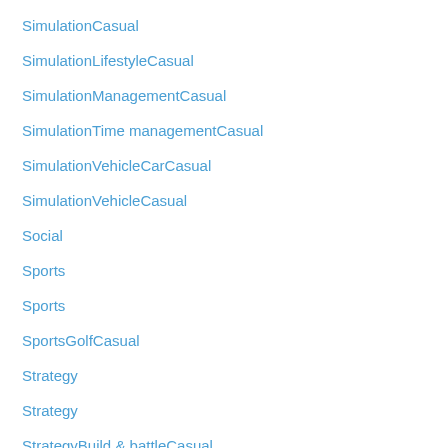SimulationCasual
SimulationLifestyleCasual
SimulationManagementCasual
SimulationTime managementCasual
SimulationVehicleCarCasual
SimulationVehicleCasual
Social
Sports
Sports
SportsGolfCasual
Strategy
Strategy
StrategyBuild & battleCasual
StrategyWargameCasual
Tools